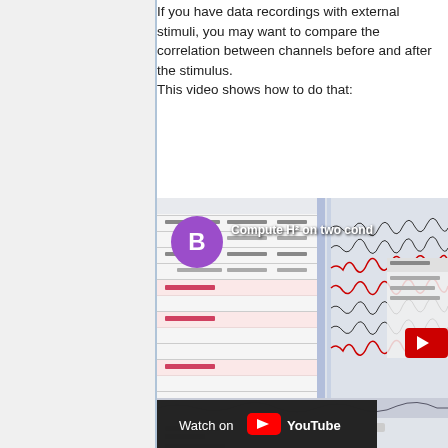If you have data recordings with external stimuli, you may want to compare the correlation between channels before and after the stimulus.
This video shows how to do that:
[Figure (screenshot): YouTube video screenshot showing 'Compute H² on two cond...' with a purple circle avatar labeled B, EEG software interface visible in background, and a 'Watch on YouTube' overlay bar at the bottom.]